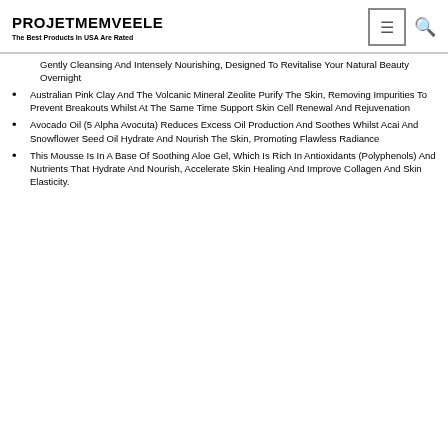PROJETMEMVEELE
The Best Products In USA Are Rated
Gently Cleansing And Intensely Nourishing, Designed To Revitalise Your Natural Beauty Overnight
Australian Pink Clay And The Volcanic Mineral Zeolite Purify The Skin, Removing Impurities To Prevent Breakouts Whilst At The Same Time Support Skin Cell Renewal And Rejuvenation
Avocado Oil (5 Alpha Avocuta) Reduces Excess Oil Production And Soothes Whilst Acai And Snowflower Seed Oil Hydrate And Nourish The Skin, Promoting Flawless Radiance
This Mousse Is In A Base Of Soothing Aloe Gel, Which Is Rich In Antioxidants (Polyphenols) And Nutrients That Hydrate And Nourish, Accelerate Skin Healing And Improve Collagen And Skin Elasticity.